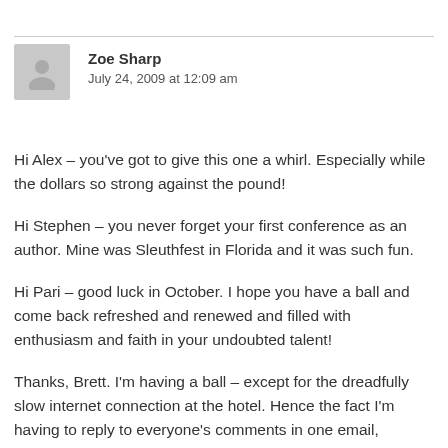Zoe Sharp
July 24, 2009 at 12:09 am
Hi Alex – you've got to give this one a whirl. Especially while the dollars so strong against the pound!
Hi Stephen – you never forget your first conference as an author. Mine was Sleuthfest in Florida and it was such fun.
Hi Pari – good luck in October. I hope you have a ball and come back refreshed and renewed and filled with enthusiasm and faith in your undoubted talent!
Thanks, Brett. I'm having a ball – except for the dreadfully slow internet connection at the hotel. Hence the fact I'm having to reply to everyone's comments in one email, otherwise I'm going…